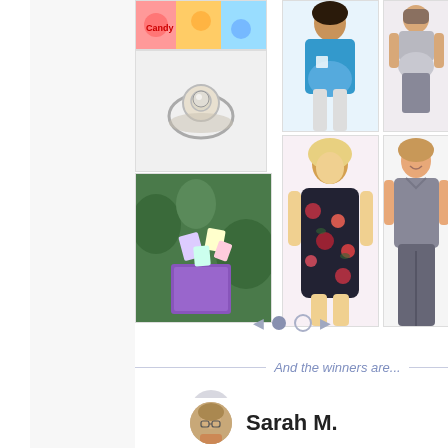[Figure (photo): Image gallery with colorful candies/toys top left, a ring/jewelry center left, a gift bag with soaps/products bottom left, a pregnant woman with blue wrap top right, a pregnant woman top far right, a young woman in floral dress bottom right center, a woman in gray top bottom far right]
And the winners are...
Kathleen Z.
Sarah M.